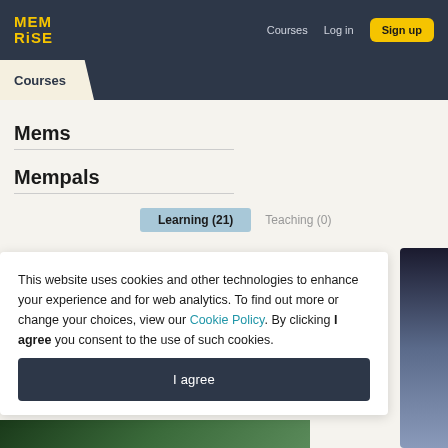MEM RISE — Courses   Log in   Sign up
Courses
Mems
Mempals
Learning (21)   Teaching (0)
This website uses cookies and other technologies to enhance your experience and for web analytics. To find out more or change your choices, view our Cookie Policy. By clicking I agree you consent to the use of such cookies.
I agree